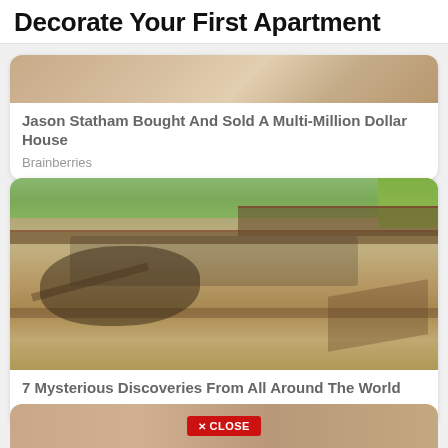Decorate Your First Apartment
[Figure (photo): Partial image of a person, cropped at top]
Jason Statham Bought And Sold A Multi-Million Dollar House
Brainberries
[Figure (photo): Aerial view of archaeological excavation site with people on wooden walkways]
7 Mysterious Discoveries From All Around The World
Brainberries
[Figure (photo): Partial image strip at bottom of page with a CLOSE button overlay]